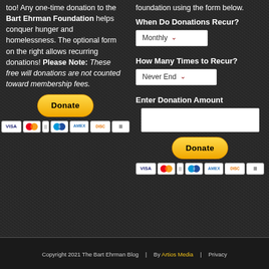too! Any one-time donation to the Bart Ehrman Foundation helps conquer hunger and homelessness. The optional form on the right allows recurring donations! Please Note: These free will donations are not counted toward membership fees.
foundation using the form below.
When Do Donations Recur?
Monthly (dropdown)
How Many Times to Recur?
Never End (dropdown)
Enter Donation Amount
[Figure (other): PayPal Donate button with payment card icons (Visa, Mastercard, Maestro, Amex, Discover, other) on dark background - left column]
[Figure (other): PayPal Donate button with payment card icons (Visa, Mastercard, Maestro, Amex, Discover, other) on dark background - right column]
Copyright 2021 The Bart Ehrman Blog  |  By Artios Media  |  Privacy